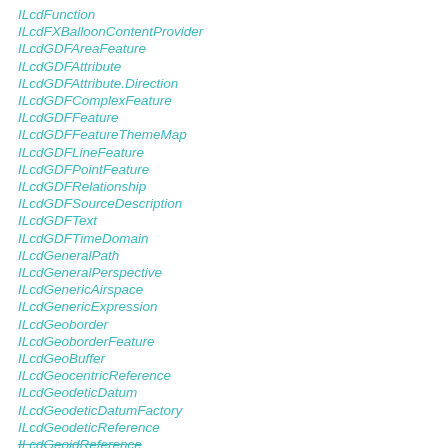ILcdFunction
ILcdFXBalloonContentProvider
ILcdGDFAreaFeature
ILcdGDFAttribute
ILcdGDFAttribute.Direction
ILcdGDFComplexFeature
ILcdGDFFeature
ILcdGDFFeatureThemeMap
ILcdGDFLineFeature
ILcdGDFPointFeature
ILcdGDFRelationship
ILcdGDFSourceDescription
ILcdGDFText
ILcdGDFTimeDomain
ILcdGeneralPath
ILcdGeneralPerspective
ILcdGenericAirspace
ILcdGenericExpression
ILcdGeoborder
ILcdGeoborderFeature
ILcdGeoBuffer
ILcdGeocentricReference
ILcdGeodeticDatum
ILcdGeodeticDatumFactory
ILcdGeodeticReference
ILcdGeoidReference (strikethrough)
ILcdGeoPath
ILcdGeoPathLeg